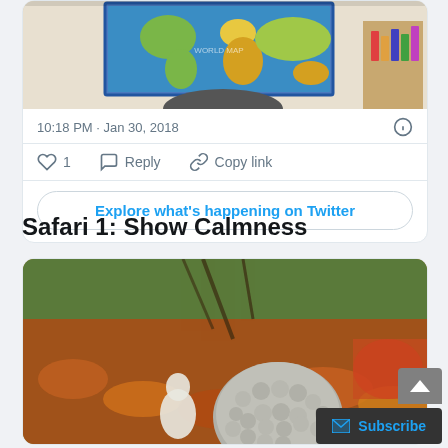[Figure (photo): Top portion of a Twitter card showing a room with a world map on the wall]
10:18 PM · Jan 30, 2018
1  Reply  Copy link
Explore what's happening on Twitter
Safari 1: Show Calmness
[Figure (photo): Photo of a stone Buddha head statue in a garden with autumn leaves]